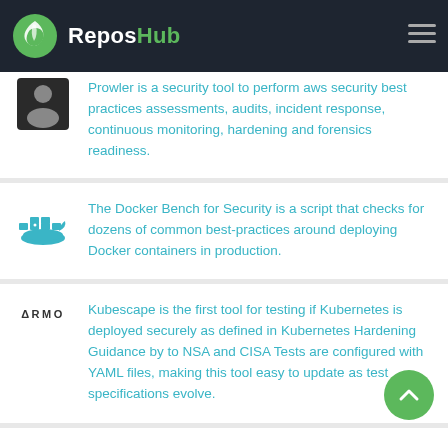ReposHub
Prowler is a security tool to perform aws security best practices assessments, audits, incident response, continuous monitoring, hardening and forensics readiness.
The Docker Bench for Security is a script that checks for dozens of common best-practices around deploying Docker containers in production.
Kubescape is the first tool for testing if Kubernetes is deployed securely as defined in Kubernetes Hardening Guidance by to NSA and CISA Tests are configured with YAML files, making this tool easy to update as test specifications evolve.
KubeLinter is a static analysis tool that checks Kubernetes YAML files and Helm charts to ensure the applications represented in them adhere to best practices.